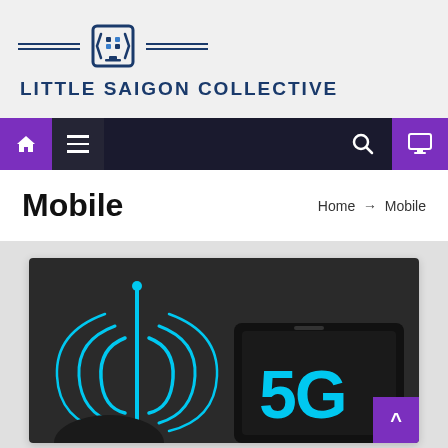[Figure (logo): Little Saigon Collective logo with bracket icon and horizontal lines on either side, dark navy blue text and icon]
LITTLE SAIGON COLLECTIVE
[Figure (screenshot): Website navigation bar with dark background, purple home icon button, hamburger menu, search icon, and purple monitor/screen icon button on the right]
Mobile
Home → Mobile
[Figure (photo): 5G technology image on dark background showing cyan/blue wireless signal waves and antenna tower with a tablet device displaying '5G' text in large cyan letters]